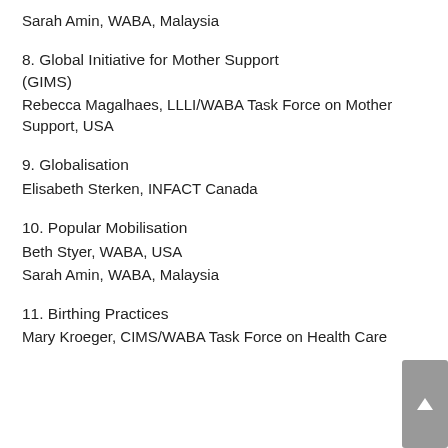Sarah Amin, WABA, Malaysia
8. Global Initiative for Mother Support (GIMS)
Rebecca Magalhaes, LLLI/WABA Task Force on Mother Support, USA
9. Globalisation
Elisabeth Sterken, INFACT Canada
10. Popular Mobilisation
Beth Styer, WABA, USA
Sarah Amin, WABA, Malaysia
11. Birthing Practices
Mary Kroeger, CIMS/WABA Task Force on Health Care